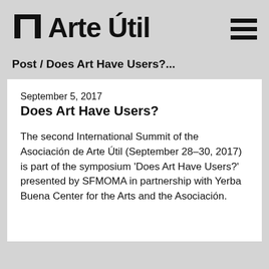Arte Útil
Post / Does Art Have Users?...
September 5, 2017
Does Art Have Users?
The second International Summit of the Asociación de Arte Útil (September 28–30, 2017) is part of the symposium 'Does Art Have Users?' presented by SFMOMA in partnership with Yerba Buena Center for the Arts and the Asociación.